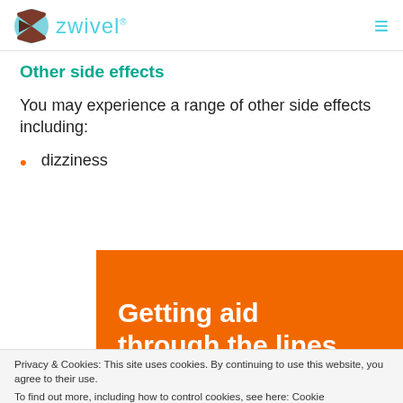zwivel
Other side effects
You may experience a range of other side effects including:
dizziness
[Figure (other): Orange advertisement banner with white bold text reading 'Getting aid through the lines']
Privacy & Cookies: This site uses cookies. By continuing to use this website, you agree to their use.
To find out more, including how to control cookies, see here: Cookie
[Figure (photo): Airplane cargo loading photo advertisement with text 'WITHOUT REGARD TO POLITICS, RELIGION OR ABILITY TO PAY']